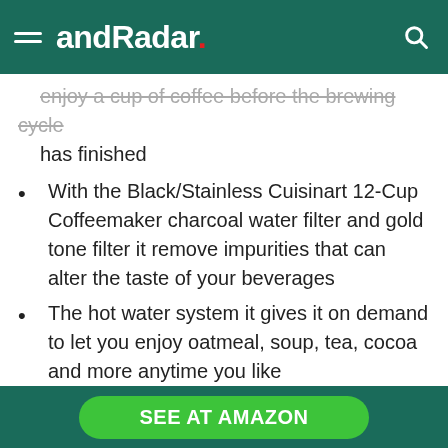andRadar.
enjoy a cup of coffee before the brewing cycle has finished
With the Black/Stainless Cuisinart 12-Cup Coffeemaker charcoal water filter and gold tone filter it remove impurities that can alter the taste of your beverages
The hot water system it gives it on demand to let you enjoy oatmeal, soup, tea, cocoa and more anytime you like
It has easy to use indicator lights which let you know when water is hot and ready to dispense, and when it's time to refill
SEE AT AMAZON